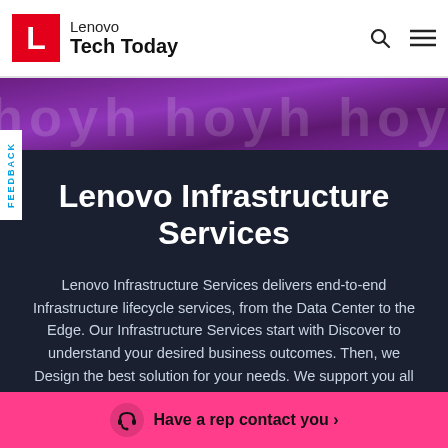Lenovo Tech Today
[Figure (illustration): Purple decorative banner with repeated 'hoyh' text watermark pattern]
Lenovo Infrastructure Services
Lenovo Infrastructure Services delivers end-to-end Infrastructure lifecycle services, from the Data Center to the Edge. Our Infrastructure Services start with Discover to understand your desired business outcomes. Then, we Design the best solution for your needs. We support you all the way to Retire: when assets need to be retired
Have a rep contact you >